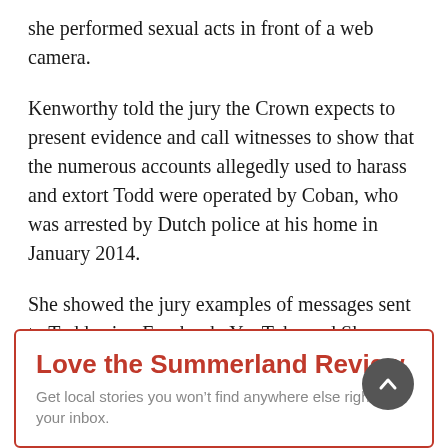she performed sexual acts in front of a web camera.
Kenworthy told the jury the Crown expects to present evidence and call witnesses to show that the numerous accounts allegedly used to harass and extort Todd were operated by Coban, who was arrested by Dutch police at his home in January 2014.
She showed the jury examples of messages sent to Todd using Facebook, YouTube and Skype, including one whose author said they would disappear if Todd put on “10 shows.”
Love the Summerland Review
Get local stories you won’t find anywhere else right to your inbox.